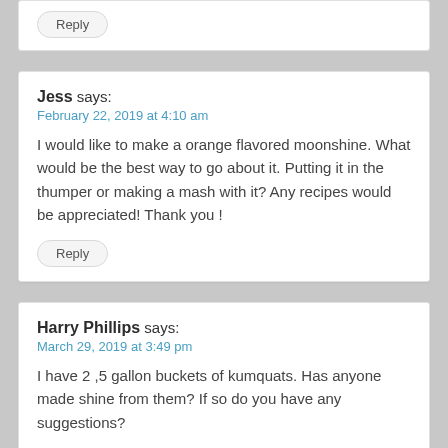Reply
Jess says:
February 22, 2019 at 4:10 am
I would like to make a orange flavored moonshine. What would be the best way to go about it. Putting it in the thumper or making a mash with it? Any recipes would be appreciated! Thank you !
Reply
Harry Phillips says:
March 29, 2019 at 3:49 pm
I have 2 ,5 gallon buckets of kumquats. Has anyone made shine from them? If so do you have any suggestions?